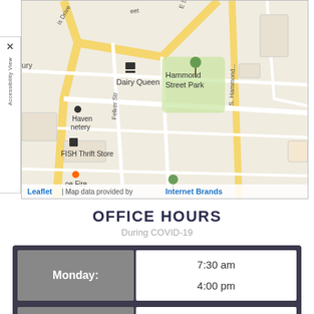[Figure (map): Street map showing area around FISH Thrift Store, Dairy Queen, Hammond Street Park, Felker Street, S. Hammond, with Leaflet map attribution to Internet Brands]
OFFICE HOURS
During COVID-19
| Day | Hours |
| --- | --- |
| Monday: | 7:30 am
4:00 pm |
| Tuesday: | 7:30 am
4:00 pm |